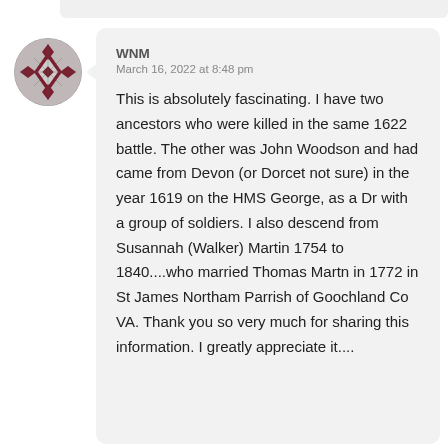[Figure (illustration): Circular avatar with a decorative geometric/floral pattern in dark red/maroon and grey tones]
WNM
March 16, 2022 at 8:48 pm
This is absolutely fascinating. I have two ancestors who were killed in the same 1622 battle. The other was John Woodson and had came from Devon (or Dorcet not sure) in the year 1619 on the HMS George, as a Dr with a group of soldiers. I also descend from Susannah (Walker) Martin 1754 to 1840....who married Thomas Martn in 1772 in St James Northam Parrish of Goochland Co VA. Thank you so very much for sharing this information. I greatly appreciate it....